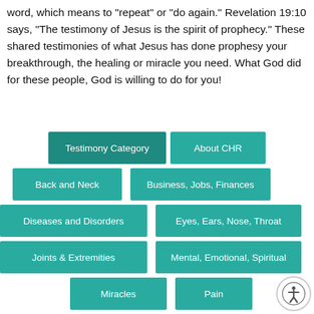word, which means to "repeat" or "do again." Revelation 19:10 says, "The testimony of Jesus is the spirit of prophecy." These shared testimonies of what Jesus has done prophesy your breakthrough, the healing or miracle you need. What God did for these people, God is willing to do for you!
[Figure (infographic): Navigation menu with teal/green buttons: Testimony Category (dark), About CHR, Back and Neck, Business Jobs Finances, Diseases and Disorders, Eyes Ears Nose Throat, Joints & Extremities, Mental Emotional Spiritual, Miracles, Pain, plus accessibility icon button]